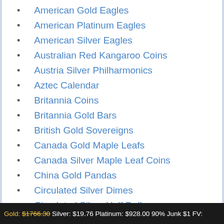American Gold Eagles
American Platinum Eagles
American Silver Eagles
Australian Red Kangaroo Coins
Austria Silver Philharmonics
Aztec Calendar
Britannia Coins
Britannia Gold Bars
British Gold Sovereigns
Canada Gold Maple Leafs
Canada Silver Maple Leaf Coins
China Gold Pandas
Circulated Silver Dimes
Circulated Silver Half Dollars
Gold Britannias
Gold: $1766.30  Silver: $19.76  Platinum: $928.00  90% Junk $1 FV: $14.13  Gold/Silver Ratio: 89.38